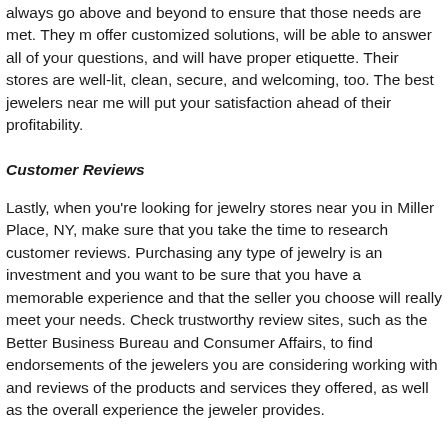always go above and beyond to ensure that those needs are met. They will offer customized solutions, will be able to answer all of your questions, and will have proper etiquette. Their stores are well-lit, clean, secure, and welcoming, too. The best jewelers near me will put your satisfaction ahead of their profitability.
Customer Reviews
Lastly, when you're looking for jewelry stores near you in Miller Place, NY, make sure that you take the time to research customer reviews. Purchasing any type of jewelry is an investment and you want to be sure that you have a memorable experience and that the seller you choose will really meet your needs. Check trustworthy review sites, such as the Better Business Bureau and Consumer Affairs, to find endorsements of the jewelers you are considering working with and reviews of the products and services they offered, as well as the overall experience the jeweler provides.
are to be determined. More Suffolk County B...